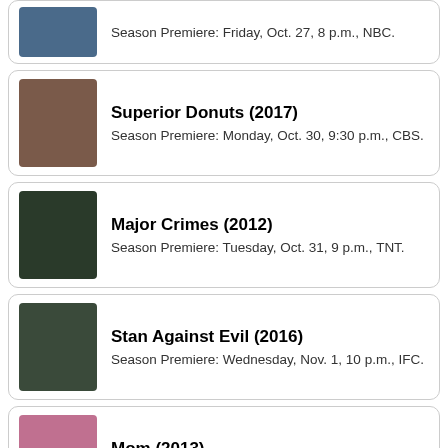Season Premiere: Friday, Oct. 27, 8 p.m., NBC.
Superior Donuts (2017)
Season Premiere: Monday, Oct. 30, 9:30 p.m., CBS.
Major Crimes (2012)
Season Premiere: Tuesday, Oct. 31, 9 p.m., TNT.
Stan Against Evil (2016)
Season Premiere: Wednesday, Nov. 1, 10 p.m., IFC.
Mom (2013)
Season Premiere: Thursday, Nov. 2, 9 p.m., CBS.
Life in Pieces (2015)